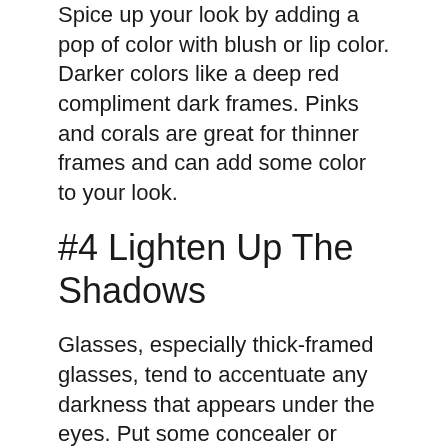Spice up your look by adding a pop of color with blush or lip color. Darker colors like a deep red compliment dark frames. Pinks and corals are great for thinner frames and can add some color to your look.
#4 Lighten Up The Shadows
Glasses, especially thick-framed glasses, tend to accentuate any darkness that appears under the eyes. Put some concealer or foundation under your eyes, preferably one shade lighter than your skin tone. Finish up with some loose powder.
For a quick tutorial, check out the video below!
[iframe https://www.youtube.com/embed/uc4S1bEFLy4?rel=0&end=240 620 349]
Do You Have Any Suggestions To Add?